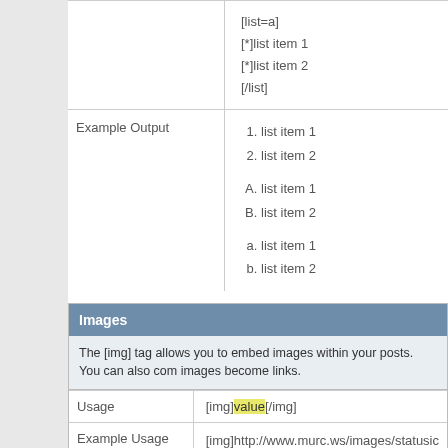|  |  |
| --- | --- |
|  | [list=a]
[*]list item 1
[*]list item 2
[/list] |
| Example Output | 1. list item 1
2. list item 2
A. list item 1
B. list item 2
a. list item 1
b. list item 2 |
Images
The [img] tag allows you to embed images within your posts. You can also com... images become links.
|  |  |
| --- | --- |
| Usage | [img]value[/img] |
| Example Usage | [img]http://www.murc.ws/images/statusic... linked)
[url=http://www.example.com]
[img]http://www.murc.ws/images/statusic... (Linked) |
| Example Output |  |